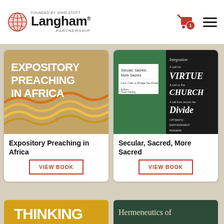[Figure (logo): Langham Partnership logo with globe icon, 'Founded by John Stott' text, 'Langham' large wordmark, 'Partnership' subtitle]
[Figure (illustration): Shopping cart icon with red badge showing '1']
[Figure (illustration): Hamburger menu icon (three horizontal bars)]
[Figure (photo): Book cover: Expository Preaching in Africa - bold white text on tan/beige background with wave pattern in orange and yellow]
Expository Preaching in Africa
VIEW BOOK
[Figure (photo): Book cover: Secular, Sacred, More Sacred - composite of green book cover and chalkboard with Integration, Virtue, Church, Divide text]
Secular, Sacred, More Sacred
VIEW BOOK
[Figure (photo): Partial book cover at bottom left showing 'THINKING' in large letters on yellow/orange background]
[Figure (photo): Partial book cover at bottom right showing 'Hermeneutics of' text on dark green background]